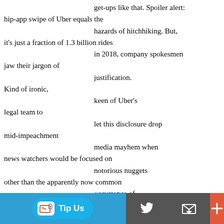get-ups like that. Spoiler alert: hip-app swipe of Uber equals the hazards of hitchhiking. But, it's just a fraction of 1.3 billion rides in 2018, company spokesmen jaw their jargon of justification. Kind of ironic, keen of Uber's legal team to let this disclosure drop mid-impeachment media mayhem when news watchers would be focused on notorious nuggets other than the apparently now common occurrence of passengers assaulted by predators who supposedly passed quasi-background checks, drivers who quietly waited behind wheels